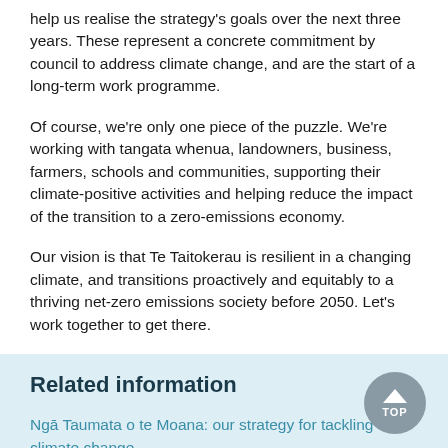help us realise the strategy's goals over the next three years. These represent a concrete commitment by council to address climate change, and are the start of a long-term work programme.
Of course, we're only one piece of the puzzle. We're working with tangata whenua, landowners, business, farmers, schools and communities, supporting their climate-positive activities and helping reduce the impact of the transition to a zero-emissions economy.
Our vision is that Te Taitokerau is resilient in a changing climate, and transitions proactively and equitably to a thriving net-zero emissions society before 2050. Let's work together to get there.
Related information
Ngā Taumata o te Moana: our strategy for tackling climate change